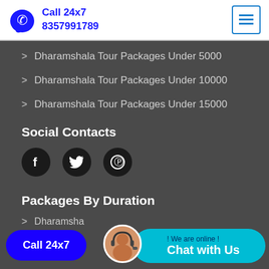Call 24x7 8357991789
Dharamshala Tour Packages Under 5000
Dharamshala Tour Packages Under 10000
Dharamshala Tour Packages Under 15000
Social Contacts
[Figure (infographic): Three social media icons: Facebook (f), Twitter (bird), Pinterest (P) in dark circles]
Packages By Duration
Dharamsha...
Dharamsh...
Call 24x7
! We are online ! Chat with Us